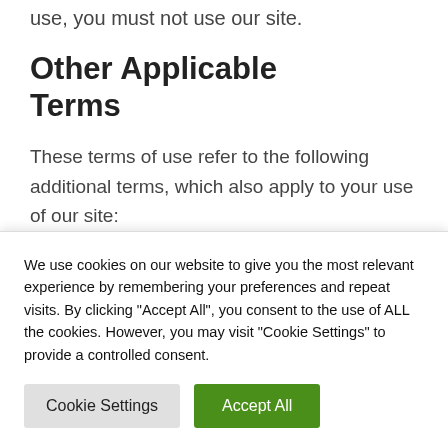use, you must not use our site.
Other Applicable Terms
These terms of use refer to the following additional terms, which also apply to your use of our site:
Our Privacy Policy, which sets out the terms on which we process any
We use cookies on our website to give you the most relevant experience by remembering your preferences and repeat visits. By clicking "Accept All", you consent to the use of ALL the cookies. However, you may visit "Cookie Settings" to provide a controlled consent.